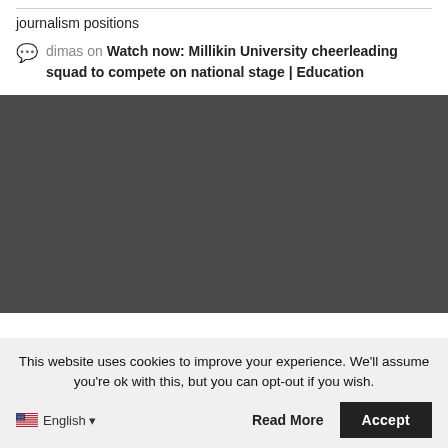journalism positions
dimas on Watch now: Millikin University cheerleading squad to compete on national stage | Education
[Figure (other): Dark gray rectangular content area, likely a video or image placeholder]
This website uses cookies to improve your experience. We'll assume you're ok with this, but you can opt-out if you wish.
English ▼
Accept
Read More